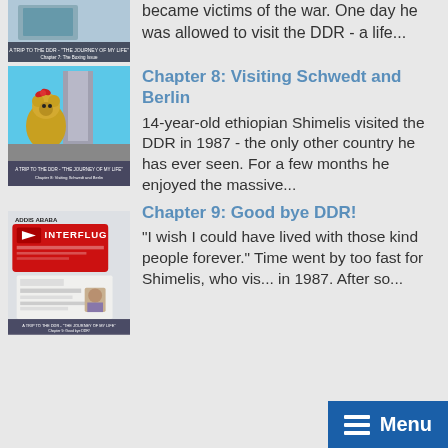became victims of the war. One day he was allowed to visit the DDR - a life...
[Figure (photo): Thumbnail image for Chapter 8: Visiting Schwedt and Berlin, showing a bear mascot costume in front of a building with caption 'A TRIP TO THE DDR - THE JOURNEY OF MY LIFE - Chapter 8: Visiting Schwedt and Berlin']
Chapter 8: Visiting Schwedt and Berlin
14-year-old ethiopian Shimelis visited the DDR in 1987 - the only other country he has ever seen. For a few months he enjoyed the massive...
[Figure (photo): Thumbnail image for Chapter 9: Good bye DDR!, showing an Interflug airline ticket/document with 'ADDIS ABABA' text and caption 'A TRIP TO THE DDR - THE JOURNEY OF MY LIFE - Chapter 9: Good bye DDR!']
Chapter 9: Good bye DDR!
"I wish I could have lived with those kind people forever." Time went by too fast for Shimelis, who vis... in 1987. After so...